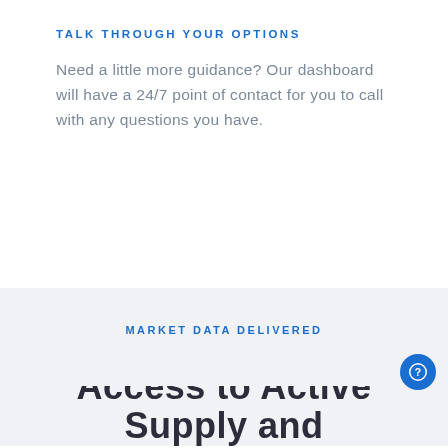TALK THROUGH YOUR OPTIONS
Need a little more guidance? Our dashboard will have a 24/7 point of contact for you to call with any questions you have.
MARKET DATA DELIVERED
Access to Active Supply and